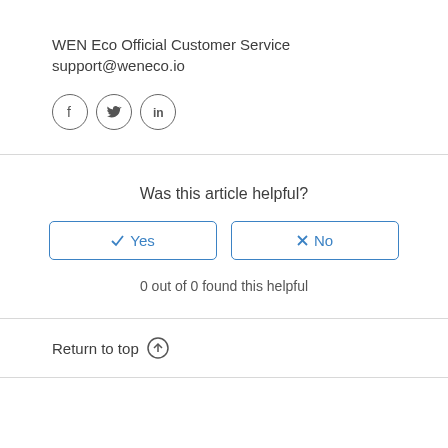WEN Eco Official Customer Service
support@weneco.io
[Figure (illustration): Three social media icons in circles: Facebook (f), Twitter (bird), LinkedIn (in)]
Was this article helpful?
Yes
No
0 out of 0 found this helpful
Return to top